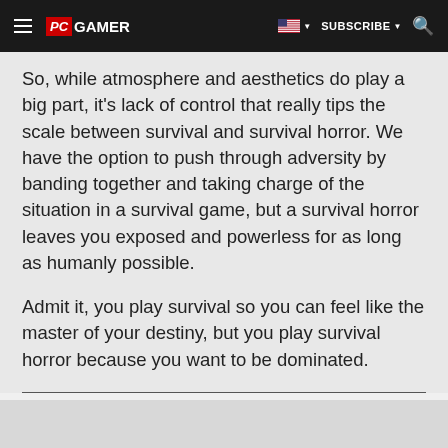PC GAMER | SUBSCRIBE
So, while atmosphere and aesthetics do play a big part, it's lack of control that really tips the scale between survival and survival horror. We have the option to push through adversity by banding together and taking charge of the situation in a survival game, but a survival horror leaves you exposed and powerless for as long as humanly possible.
Admit it, you play survival so you can feel like the master of your destiny, but you play survival horror because you want to be dominated.